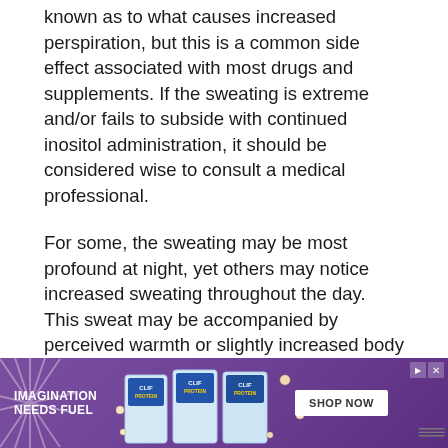known as to what causes increased perspiration, but this is a common side effect associated with most drugs and supplements.  If the sweating is extreme and/or fails to subside with continued inositol administration, it should be considered wise to consult a medical professional.
For some, the sweating may be most profound at night, yet others may notice increased sweating throughout the day.  This sweat may be accompanied by perceived warmth or slightly increased body temperature.  Because sweating can be induced by many things such as: warm temperatures, exercise, other medications, etc. – it's usually difficult to isolate inositol as the causative agent.
Tiredness: You may feel exceptionally tired all the time whi... on. The tiredness may stem from the sympathomimetic
[Figure (infographic): Advertisement banner for CLIF protein bars. Purple background with rays, CLIF bar product images, text 'IMAGINATION NEEDS FUEL', 'SHOP NOW' button, and media controls.]